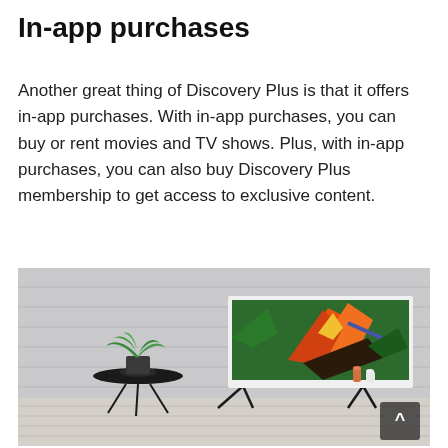In-app purchases
Another great thing of Discovery Plus is that it offers in-app purchases. With in-app purchases, you can buy or rent movies and TV shows. Plus, with in-app purchases, you can also buy Discovery Plus membership to get access to exclusive content.
[Figure (photo): A living room scene with a flat-screen TV on a stand displaying a bird-of-paradise flower image. A small plant on a side table is visible to the left, and decorative items sit on top of the TV stand. The room has a neutral grey wall.]